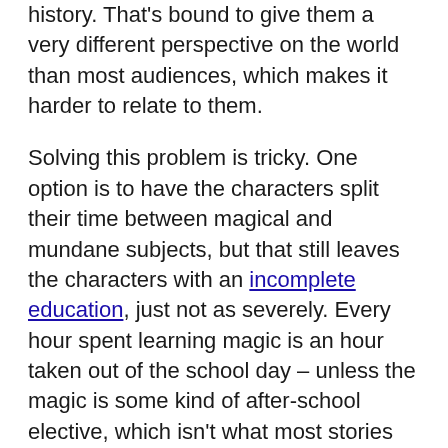history. That's bound to give them a very different perspective on the world than most audiences, which makes it harder to relate to them.
Solving this problem is tricky. One option is to have the characters split their time between magical and mundane subjects, but that still leaves the characters with an incomplete education, just not as severely. Every hour spent learning magic is an hour taken out of the school day – unless the magic is some kind of after-school elective, which isn't what most stories are going for.
Another option is to work the magic into more traditional lessons. Perhaps the characters need to learn basic math in order to calculate the more